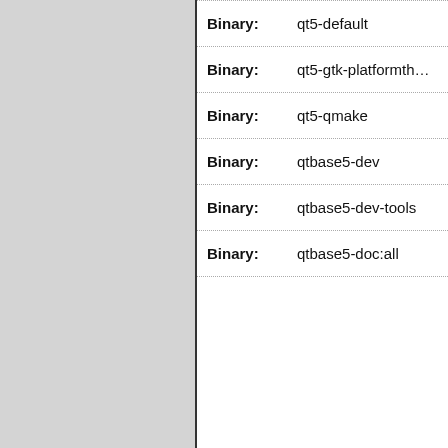Binary: qt5-default
Binary: qt5-gtk-platformth…
Binary: qt5-qmake
Binary: qtbase5-dev
Binary: qtbase5-dev-tools
Binary: qtbase5-doc:all